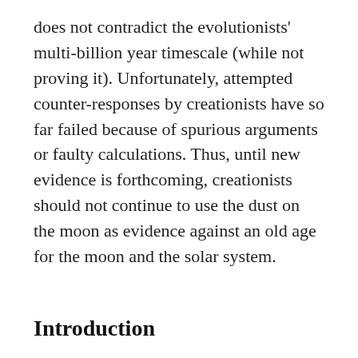does not contradict the evolutionists' multi-billion year timescale (while not proving it). Unfortunately, attempted counter-responses by creationists have so far failed because of spurious arguments or faulty calculations. Thus, until new evidence is forthcoming, creationists should not continue to use the dust on the moon as evidence against an old age for the moon and the solar system.
Introduction
One of the evidences for a young earth that